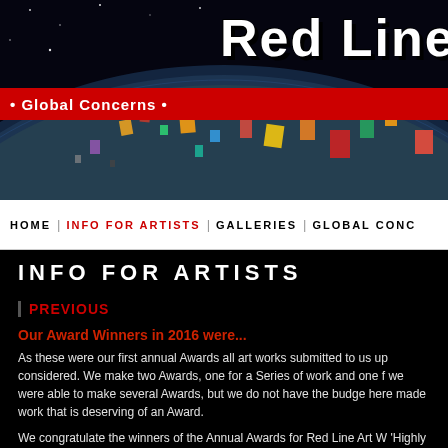[Figure (screenshot): Website header banner with globe/earth image background, 'Red Line' title text in white with bold impact font, and a red horizontal bar with '• Global Concerns •' text]
HOME | INFO FOR ARTISTS | GALLERIES | GLOBAL CONC
INFO FOR ARTISTS
PREVIOUS
Our Award Winners in 2016 were...
As these were our first annual Awards all art works submitted to us up considered. We make two Awards, one for a Series of work and one f we were able to make several Awards, but we do not have the budge here made work that is deserving of an Award.
We congratulate the winners of the Annual Awards for Red Line Art W 'Highly Commended'.